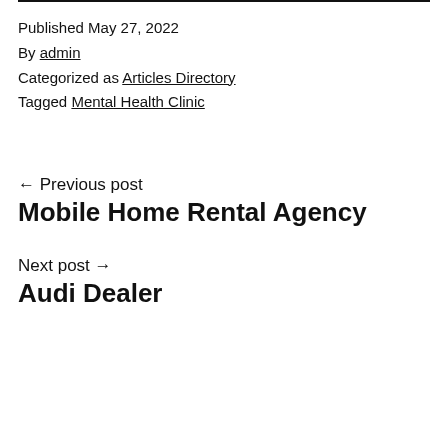Published May 27, 2022
By admin
Categorized as Articles Directory
Tagged Mental Health Clinic
← Previous post
Mobile Home Rental Agency
Next post →
Audi Dealer